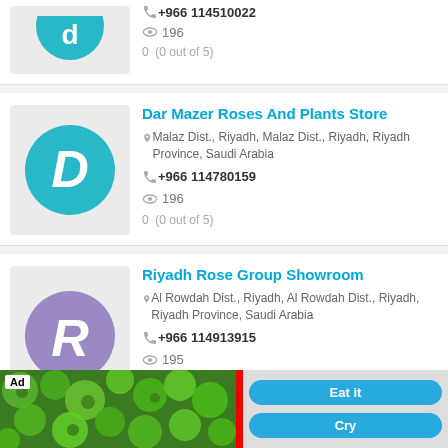+966 114510022
196
0  (0 out of 5)
Dar Mazer Roses And Plants Store
Malaz Dist., Riyadh, Malaz Dist., Riyadh, Riyadh Province, Saudi Arabia
+966 114780159
196
0  (0 out of 5)
Riyadh Rose Group Showroom
Al Rowdah Dist., Riyadh, Al Rowdah Dist., Riyadh, Riyadh Province, Saudi Arabia
+966 114913915
195
0  (0 out of 5)
[Figure (screenshot): Ad banner with green vegetable image and two blue buttons labeled Eat it and Cry]